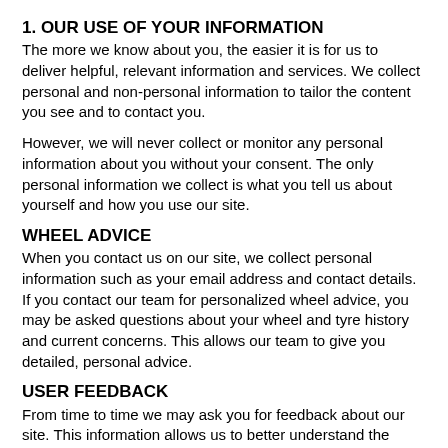1. OUR USE OF YOUR INFORMATION
The more we know about you, the easier it is for us to deliver helpful, relevant information and services. We collect personal and non-personal information to tailor the content you see and to contact you.
However, we will never collect or monitor any personal information about you without your consent. The only personal information we collect is what you tell us about yourself and how you use our site.
WHEEL ADVICE
When you contact us on our site, we collect personal information such as your email address and contact details. If you contact our team for personalized wheel advice, you may be asked questions about your wheel and tyre history and current concerns. This allows our team to give you detailed, personal advice.
USER FEEDBACK
From time to time we may ask you for feedback about our site. This information allows us to better understand the needs of our users and to gather information about issues and trends. We store